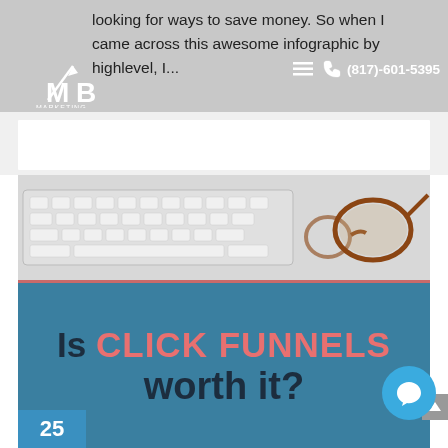looking for ways to save money. So when I came across this awesome infographic by highlevel, I...
[Figure (logo): MB Marketing logo with arrow and stylized letters]
(817)-601-5395
[Figure (photo): Promotional image showing keyboard and glasses on desk at top, with blue banner below reading 'Is CLICK FUNNELS worth it?' in dark and salmon/coral text on teal background]
Is CLICK FUNNELS worth it?